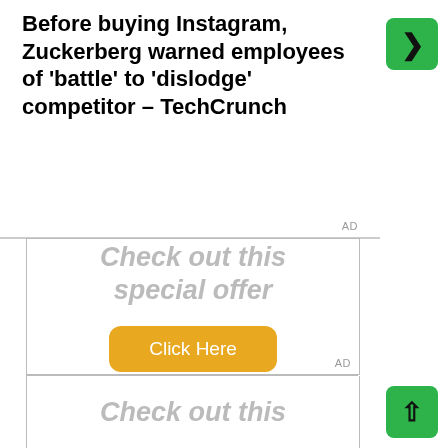Before buying Instagram, Zuckerberg warned employees of 'battle' to 'dislodge' competitor – TechCrunch
[Figure (screenshot): Green button with right arrow (navigation)]
[Figure (infographic): Advertisement block with 'AD' label at top, text 'Check out this special offer' in italic gray, and an orange 'Click Here' button. AD label at bottom.]
[Figure (infographic): Second advertisement block partially visible at bottom, showing text 'Check out this']
[Figure (screenshot): Green button with up arrow (scroll to top)]